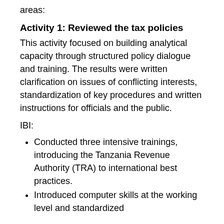areas:
Activity 1: Reviewed the tax policies
This activity focused on building analytical capacity through structured policy dialogue and training. The results were written clarification on issues of conflicting interests, standardization of key procedures and written instructions for officials and the public.
IBI:
Conducted three intensive trainings, introducing the Tanzania Revenue Authority (TRA) to international best practices.
Introduced computer skills at the working level and standardized